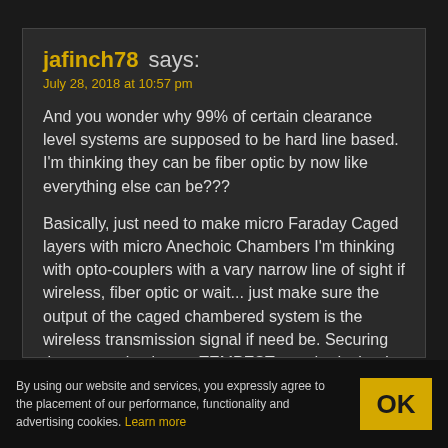jafinch78 says:
July 28, 2018 at 10:57 pm

And you wonder why 99% of certain clearance level systems are supposed to be hard line based. I'm thinking they can be fiber optic by now like everything else can be???

Basically, just need to make micro Faraday Caged layers with micro Anechoic Chambers I'm thinking with opto-couplers with a vary narrow line of sight if wireless, fiber optic or wait... just make sure the output of the caged chambered system is the wireless transmission signal if need be. Securing the processing box to TEMPEST standards that I still need
By using our website and services, you expressly agree to the placement of our performance, functionality and advertising cookies. Learn more